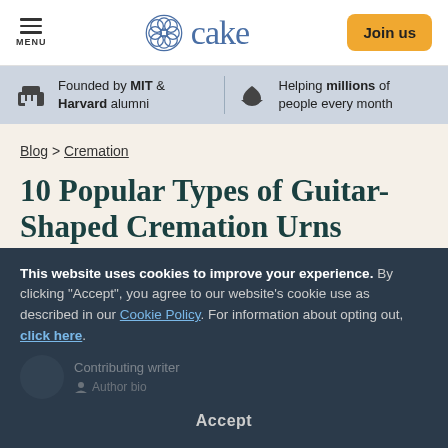cake — Join us
Founded by MIT & Harvard alumni | Helping millions of people every month
Blog > Cremation
10 Popular Types of Guitar-Shaped Cremation Urns
Updated 1/29/2021
This website uses cookies to improve your experience. By clicking "Accept", you agree to our website's cookie use as described in our Cookie Policy. For information about opting out, click here.
Contributing writer
Author bio
Accept